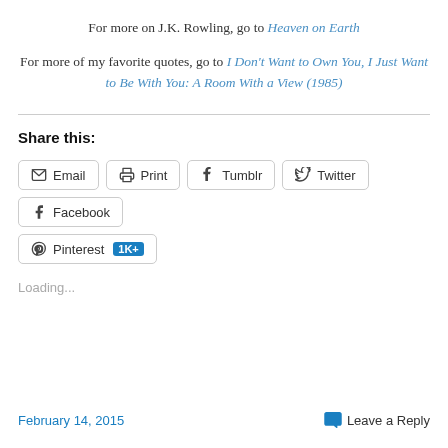For more on J.K. Rowling, go to Heaven on Earth
For more of my favorite quotes, go to I Don't Want to Own You, I Just Want to Be With You: A Room With a View (1985)
Share this:
Email  Print  Tumblr  Twitter  Facebook  Pinterest 1K+
Loading...
February 14, 2015    Leave a Reply